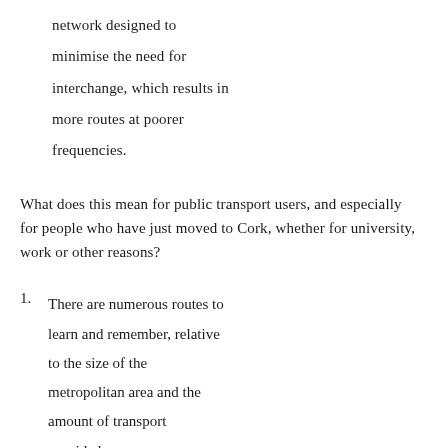network designed to minimise the need for interchange, which results in more routes at poorer frequencies.
What does this mean for public transport users, and especially for people who have just moved to Cork, whether for university, work or other reasons?
1. There are numerous routes to learn and remember, relative to the size of the metropolitan area and the amount of transport provided.
2. If someone is travelling to